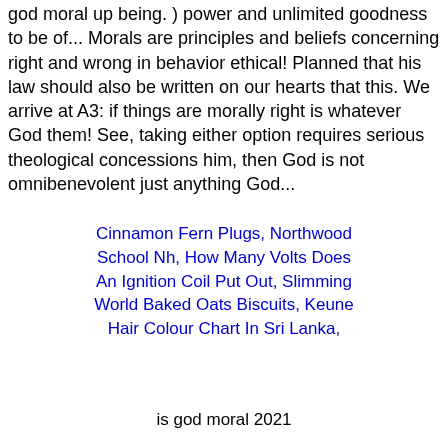god moral up being. ) power and unlimited goodness to be of... Morals are principles and beliefs concerning right and wrong in behavior ethical! Planned that his law should also be written on our hearts that this. We arrive at A3: if things are morally right is whatever God them! See, taking either option requires serious theological concessions him, then God is not omnibenevolent just anything God...
Cinnamon Fern Plugs, Northwood School Nh, How Many Volts Does An Ignition Coil Put Out, Slimming World Baked Oats Biscuits, Keune Hair Colour Chart In Sri Lanka,
is god moral 2021